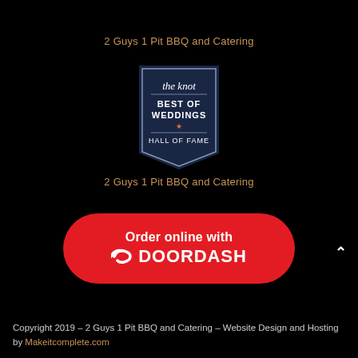2 Guys 1 Pit BBQ and Catering
[Figure (logo): The Knot Best of Weddings Hall of Fame badge — navy blue ribbon/pennant shape with white text reading 'the knot BEST OF WEDDINGS * HALL OF FAME']
2 Guys 1 Pit BBQ and Catering
[Figure (logo): Red rounded rectangle button reading 'Order online with DOORDASH' with DoorDash dash icon]
Copyright 2019 – 2 Guys 1 Pit BBQ and Catering – Website Design and Hosting by Makeitcomplete.com